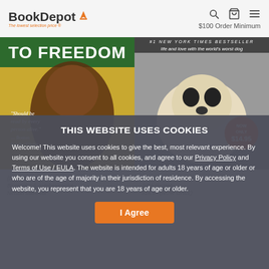[Figure (logo): BookDepot logo with orange book icon and tagline 'The lowest selection price']
[Figure (photo): Left book cover: 'Long Walk to Freedom' featuring Nelson Mandela, with blurb 'Should be read by every person alive - Boston Sunday Globe']
[Figure (photo): Right book cover: '#1 New York Times Bestseller: life and love with the world's worst dog' featuring a yellow Labrador, with 'NOW ONLY $14.95' badge]
THIS WEBSITE USES COOKIES
Welcome! This website uses cookies to give the best, most relevant experience. By using our website you consent to all cookies, and agree to our Privacy Policy and Terms of Use / EULA. The website is intended for adults 18 years of age or older or who are of the age of majority in their jurisdiction of residence. By accessing the website, you represent that you are 18 years of age or older.
I Agree